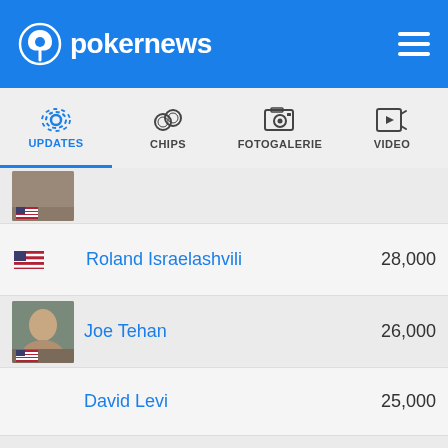pokernews
UPDATES | CHIPS | FOTOGALERIE | VIDEO | AU
Roland Israelashvili  28,000
Joe Tehan  26,000
David Levi  25,000
Eric Buchman  24,000
Ted Forrest  23,000